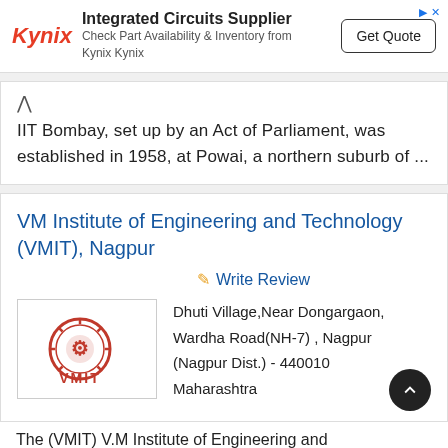[Figure (infographic): Kynix advertisement banner with logo, 'Integrated Circuits Supplier' heading, subtext 'Check Part Availability & Inventory from Kynix Kynix', and a 'Get Quote' button.]
IIT Bombay, set up by an Act of Parliament, was established in 1958, at Powai, a northern suburb of ...
VM Institute of Engineering and Technology (VMIT), Nagpur
✏ Write Review
[Figure (logo): VMIT logo - circular red emblem with engineering symbol and VMIT text in red below]
Dhuti Village,Near Dongargaon, Wardha Road(NH-7) , Nagpur (Nagpur Dist.) - 440010 Maharashtra
The (VMIT) V.M Institute of Engineering and